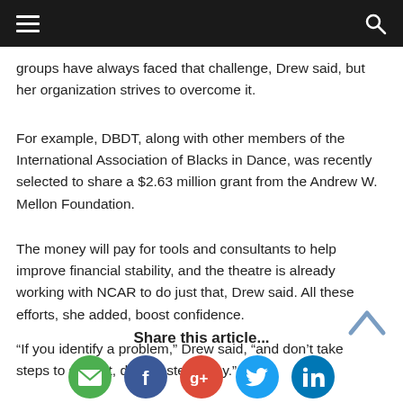≡  🔍
groups have always faced that challenge, Drew said, but her organization strives to overcome it.
For example, DBDT, along with other members of the International Association of Blacks in Dance, was recently selected to share a $2.63 million grant from the Andrew W. Mellon Foundation.
The money will pay for tools and consultants to help improve financial stability, and the theatre is already working with NCAR to do just that, Drew said. All these efforts, she added, boost confidence.
“If you identify a problem,” Drew said, “and don’t take steps to solve it, donors step away.”
Share this article...